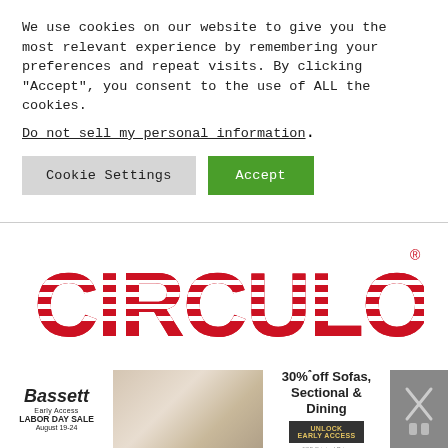We use cookies on our website to give you the most relevant experience by remembering your preferences and repeat visits. By clicking “Accept”, you consent to the use of ALL the cookies.
Do not sell my personal information.
Cookie Settings
Accept
[Figure (logo): Circulon brand logo in red with horizontal stripe pattern on each letter]
[Figure (infographic): Bassett Early Access Labor Day Sale advertisement banner with furniture image, 30% off Sofas Sectional & Dining text, Unlock Early Access button]